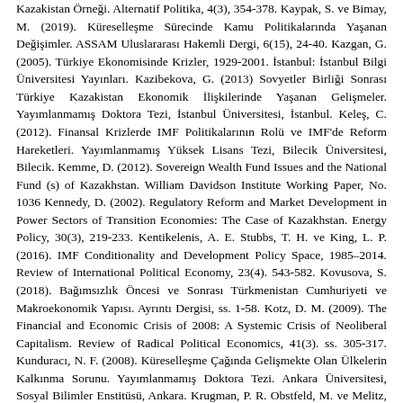Kazakistan Örneği. Alternatif Politika, 4(3), 354-378. Kaypak, S. ve Bimay, M. (2019). Küreselleşme Sürecinde Kamu Politikalarında Yaşanan Değişimler. ASSAM Uluslararası Hakemli Dergi, 6(15), 24-40. Kazgan, G. (2005). Türkiye Ekonomisinde Krizler, 1929-2001. İstanbul: İstanbul Bilgi Üniversitesi Yayınları. Kazibekova, G. (2013) Sovyetler Birliği Sonrası Türkiye Kazakistan Ekonomik İlişkilerinde Yaşanan Gelişmeler. Yayımlanmamış Doktora Tezi, İstanbul Üniversitesi, İstanbul. Keleş, C. (2012). Finansal Krizlerde IMF Politikalarının Rolü ve IMF'de Reform Hareketleri. Yayımlanmamış Yüksek Lisans Tezi, Bilecik Üniversitesi, Bilecik. Kemme, D. (2012). Sovereign Wealth Fund Issues and the National Fund (s) of Kazakhstan. William Davidson Institute Working Paper, No. 1036 Kennedy, D. (2002). Regulatory Reform and Market Development in Power Sectors of Transition Economies: The Case of Kazakhstan. Energy Policy, 30(3), 219-233. Kentikelenis, A. E. Stubbs, T. H. ve King, L. P. (2016). IMF Conditionality and Development Policy Space, 1985–2014. Review of International Political Economy, 23(4). 543-582. Kovusova, S. (2018). Bağımsızlık Öncesi ve Sonrası Türkmenistan Cumhuriyeti ve Makroekonomik Yapısı. Ayrıntı Dergisi, ss. 1-58. Kotz, D. M. (2009). The Financial and Economic Crisis of 2008: A Systemic Crisis of Neoliberal Capitalism. Review of Radical Political Economics, 41(3). ss. 305-317. Kunduracı, N. F. (2008). Küreselleşme Çağında Gelişmekte Olan Ülkelerin Kalkınma Sorunu. Yayımlanmamış Doktora Tezi. Ankara Üniversitesi, Sosyal Bilimler Enstitüsü, Ankara. Krugman, P. R. Obstfeld, M. ve Melitz, M. (2012). International